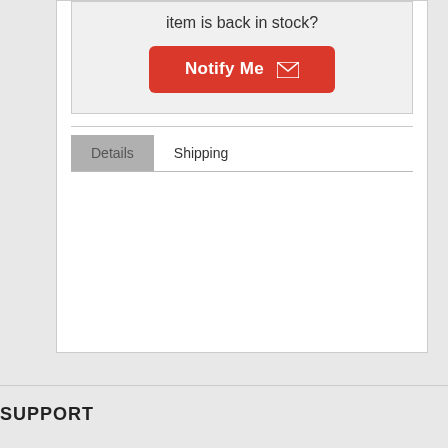item is back in stock?
[Figure (other): Red 'Notify Me' button with envelope icon]
Details
Shipping
SUPPORT